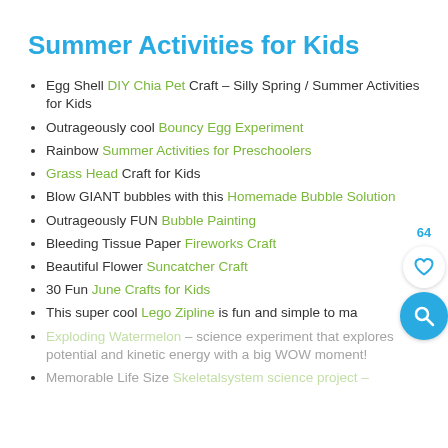Summer Activities for Kids
Egg Shell DIY Chia Pet Craft – Silly Spring / Summer Activities for Kids
Outrageously cool Bouncy Egg Experiment
Rainbow Summer Activities for Preschoolers
Grass Head Craft for Kids
Blow GIANT bubbles with this Homemade Bubble Solution
Outrageously FUN Bubble Painting
Bleeding Tissue Paper Fireworks Craft
Beautiful Flower Suncatcher Craft
30 Fun June Crafts for Kids
This super cool Lego Zipline is fun and simple to ma…
Exploding Watermelon – science experiment that explores potential and kinetic energy with a big WOW moment!
Memorable Life Size Skeletalsystem science project –